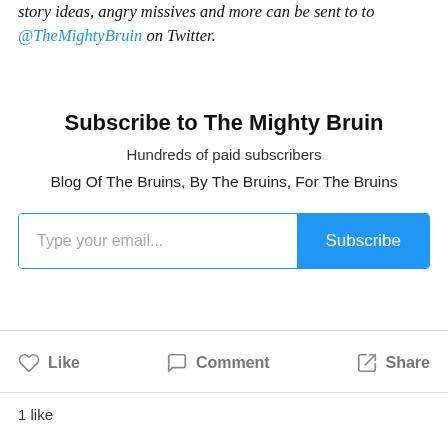story ideas, angry missives and more can be sent to to @TheMightyBruin on Twitter.
Subscribe to The Mighty Bruin
Hundreds of paid subscribers
Blog Of The Bruins, By The Bruins, For The Bruins
[Figure (screenshot): Email subscription input box with placeholder 'Type your email...' and a blue 'Subscribe' button]
Like   Comment   Share
1 like